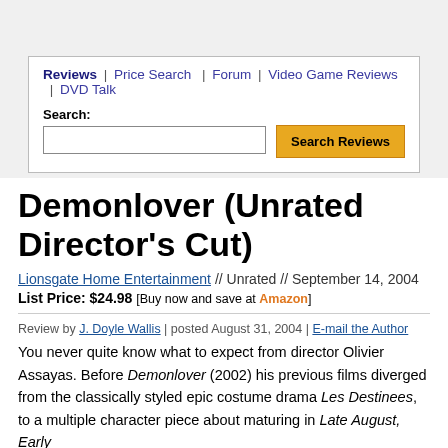Reviews | Price Search | Forum | Video Game Reviews | DVD Talk
Search: [Search input box] [Search Reviews button]
Demonlover (Unrated Director's Cut)
Lionsgate Home Entertainment // Unrated // September 14, 2004
List Price: $24.98 [Buy now and save at Amazon]
Review by J. Doyle Wallis | posted August 31, 2004 | E-mail the Author
You never quite know what to expect from director Olivier Assayas. Before Demonlover (2002) his previous films diverged from the classically styled epic costume drama Les Destinees, to a multiple character piece about maturing in Late August, Early